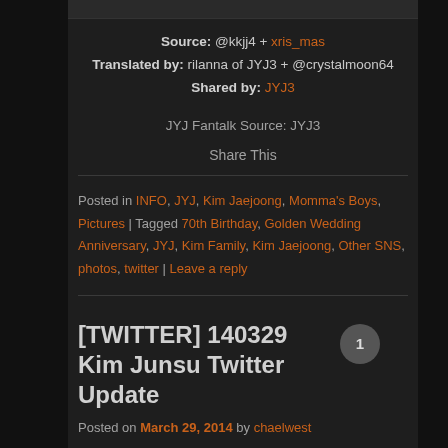Source: @kkjj4 + xris_mas
Translated by: rilanna of JYJ3 + @crystalmoon64
Shared by: JYJ3
JYJ Fantalk Source: JYJ3
Share This
Posted in INFO, JYJ, Kim Jaejoong, Momma's Boys, Pictures | Tagged 70th Birthday, Golden Wedding Anniversary, JYJ, Kim Family, Kim Jaejoong, Other SNS, photos, twitter | Leave a reply
[TWITTER] 140329 Kim Junsu Twitter Update
Posted on March 29, 2014 by chaelwest